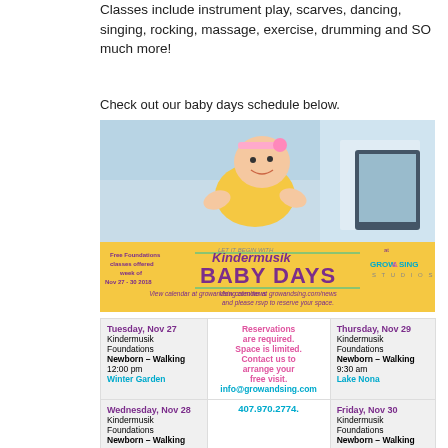Classes include instrument play, scarves, dancing, singing, rocking, massage, exercise, drumming and SO much more!
Check out our baby days schedule below.
[Figure (photo): Kindermusik Baby Days promotional banner at Grow & Sing Studios featuring a smiling baby in a yellow onesie on a blue background, with yellow lower section showing event details for week of Nov 27-30 2018]
| Tuesday, Nov 27 | Reservations are required. Space is limited. Contact us to arrange your free visit. | Thursday, Nov 29 |
| --- | --- | --- |
| Kindermusik Foundations
Newborn – Walking
12:00 pm
Winter Garden | info@growandsing.com
407.970.2774. | Kindermusik Foundations
Newborn – Walking
9:30 am
Lake Nona |
| Wednesday, Nov 28
Kindermusik Foundations
Newborn – Walking |  | Friday, Nov 30
Kindermusik Foundations
Newborn – Walking |